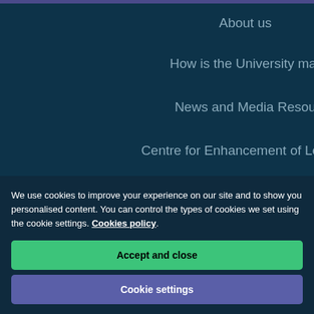About us
How is the University mar
News and Media Resou
Centre for Enhancement of Learnin
Staff and Students
Legal Statements
Covid-19 – Guidance for current students
[Figure (logo): University logo with starburst/crown motif in white on dark navy background]
[Figure (illustration): Accessibility badge with 'me' circle and ACCESSIBILITY text in red]
We use cookies to improve your experience on our site and to show you personalised content. You can control the types of cookies we set using the cookie settings. Cookies policy
Accept and close
Cookie settings